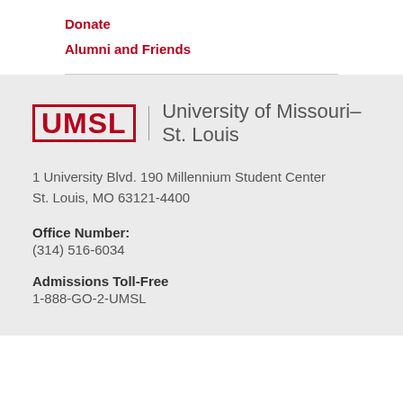Donate
Alumni and Friends
[Figure (logo): UMSL logo with text: UMSL | University of Missouri–St. Louis]
1 University Blvd. 190 Millennium Student Center
St. Louis, MO 63121-4400
Office Number:
(314) 516-6034
Admissions Toll-Free
1-888-GO-2-UMSL